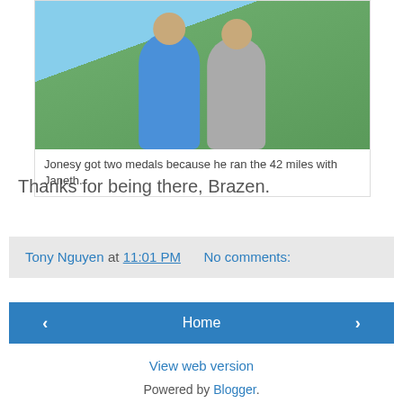[Figure (photo): Two people smiling outdoors at a running event, one wearing a blue triathlon shirt and medals, the other in a gray shirt with race bib number 71. Green trees and blue sky in background.]
Jonesy got two medals because he ran the 42 miles with Janeth.
Thanks for being there, Brazen.
Tony Nguyen at 11:01 PM    No comments:
‹  Home  ›
View web version
Powered by Blogger.